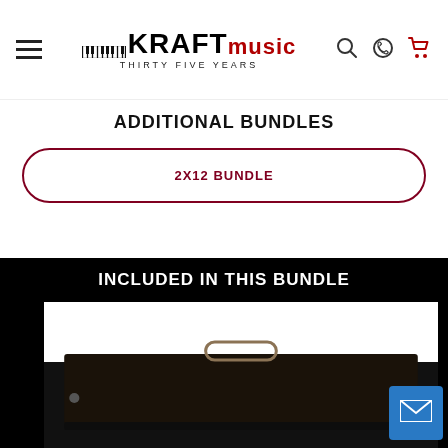Kraft Music – Thirty Five Years
ADDITIONAL BUNDLES
2X12 BUNDLE
INCLUDED IN THIS BUNDLE
[Figure (photo): Product photo of a guitar amplifier/speaker cabinet on a black background, shown from above the bottom of the frame. A black tolex-covered amp head with a leather handle is partially visible.]